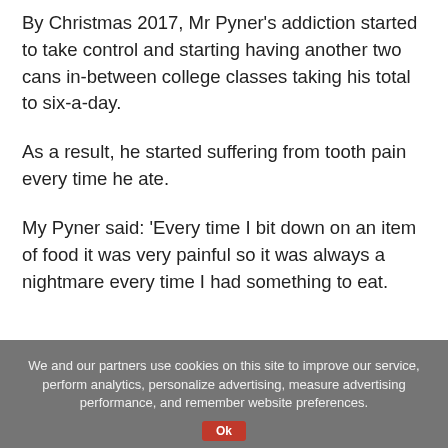By Christmas 2017, Mr Pyner's addiction started to take control and starting having another two cans in-between college classes taking his total to six-a-day.
As a result, he started suffering from tooth pain every time he ate.
My Pyner said: ‘Every time I bit down on an item of food it was very painful so it was always a nightmare every time I had something to eat.
We and our partners use cookies on this site to improve our service, perform analytics, personalize advertising, measure advertising performance, and remember website preferences.